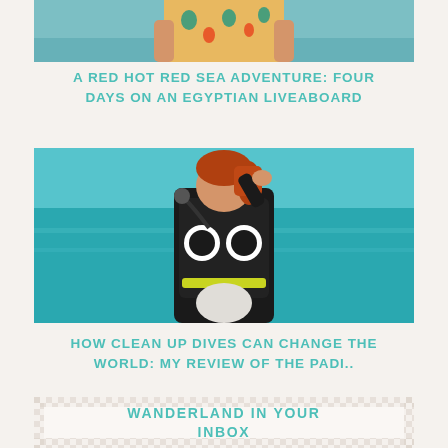[Figure (photo): Top portion of a person wearing a floral shirt standing in front of blue water, cropped at the waist]
A RED HOT RED SEA ADVENTURE: FOUR DAYS ON AN EGYPTIAN LIVEABOARD
[Figure (photo): Person with red hair wearing scuba diving equipment (BCD, tank, wetsuit) against a turquoise water background, viewed from behind]
HOW CLEAN UP DIVES CAN CHANGE THE WORLD: MY REVIEW OF THE PADI..
WANDERLAND IN YOUR INBOX